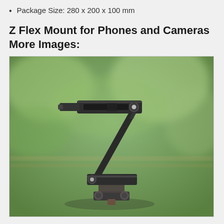Package Size: 280 x 200 x 100 mm
Z Flex Mount for Phones and Cameras More Images:
[Figure (photo): A Z-shaped flex mount for phones and cameras mounted on a tripod head, photographed outdoors with a blurred green foliage background. The black aluminum Z-flex bracket shows its distinctive Z-shape with hinge joints at top and bottom, sitting on a tripod ball head.]